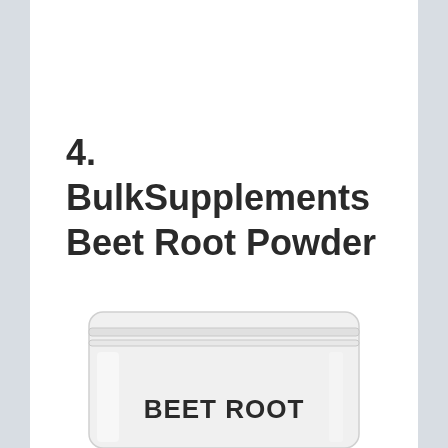4. BulkSupplements Beet Root Powder
[Figure (photo): A white resealable pouch/bag product labeled 'BEET ROOT', partially visible at the bottom of the page — the BulkSupplements Beet Root Powder packaging.]